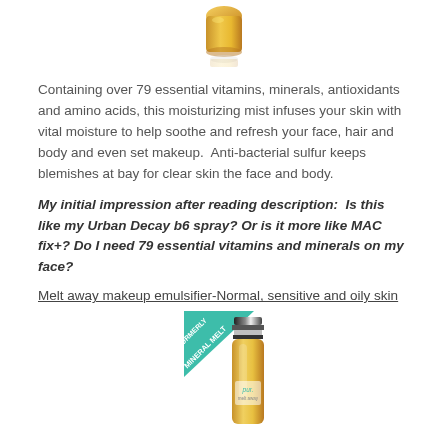[Figure (photo): Top portion of a gold/amber colored perfume or beauty product bottle against white background]
Containing over 79 essential vitamins, minerals, antioxidants and amino acids, this moisturizing mist infuses your skin with vital moisture to help soothe and refresh your face, hair and body and even set makeup.  Anti-bacterial sulfur keeps blemishes at bay for clear skin the face and body.
My initial impression after reading description:  Is this like my Urban Decay b6 spray? Or is it more like MAC fix+? Do I need 79 essential vitamins and minerals on my face?
Melt away makeup emulsifier-Normal, sensitive and oily skin
[Figure (photo): Beauty product bottle (pur. melt away) with a teal/turquoise diagonal banner reading FORMERLY MINERAL MELT, bottle is gold/champagne colored with black and silver cap]